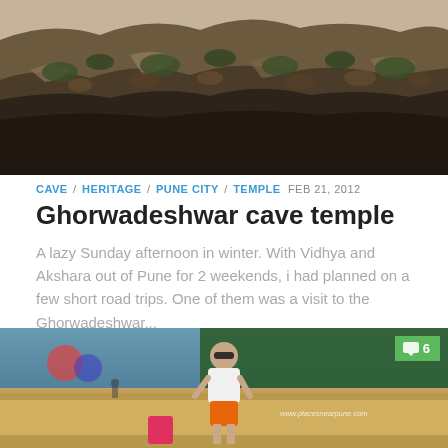[Figure (photo): Landscape photo of rocky hillside with sparse dry vegetation and shrubs against a hazy sky]
CAVE / HERITAGE / PUNE CITY / TEMPLE  FEB 21, 2012
Ghorwadeshwar cave temple
A lazy Sunday afternoon in winter. With Vidhya and Akshara out of Pune for 2 weekends, i had planned on a few short road trips. One of them was a visit to the Ghorwadeshwar...
[Figure (photo): Young man in white t-shirt and orange shorts standing on a road near a beach or lakeside area, wearing sunglasses. A red bag is visible to his left. Watermark reads www.placesnearpune.com. A green comment badge shows 6 comments.]